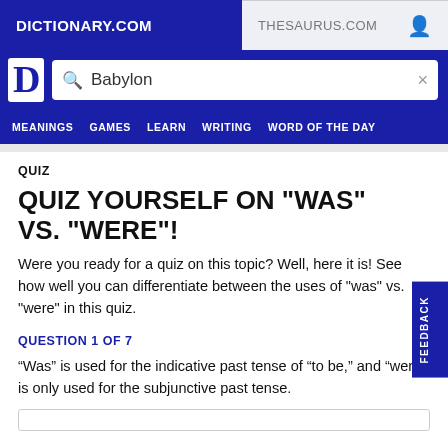DICTIONARY.COM | THESAURUS.COM
[Figure (screenshot): Dictionary.com logo (white D on dark blue)]
Babylon
QUIZ
QUIZ YOURSELF ON "WAS" VS. "WERE"!
Were you ready for a quiz on this topic? Well, here it is! See how well you can differentiate between the uses of "was" vs. "were" in this quiz.
QUESTION 1 OF 7
“Was” is used for the indicative past tense of “to be,” and “were” is only used for the subjunctive past tense.